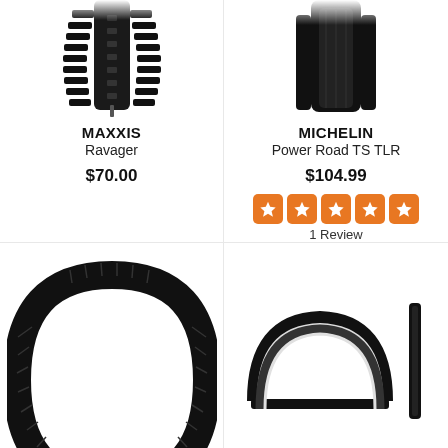[Figure (photo): Maxxis Ravager bike tire product image, top portion visible]
MAXXIS
Ravager
$70.00
[Figure (photo): Michelin Power Road TS TLR bike tire product image, top portion visible]
MICHELIN
Power Road TS TLR
$104.99
[Figure (other): 5 orange star rating boxes]
1 Review
[Figure (photo): Kenda Komfort 700c bike tire full arc shape, black]
KENDA
Komfort 700c
$24.95
[Figure (photo): Kenda Koncept 650c bike tire, two views: arc and side]
KENDA
Koncept 650c
$24.95 - $34.95